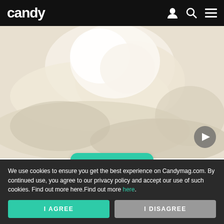candy
[Figure (photo): Close-up photo of a white/cream fabric or textile material with soft folds, possibly a white flower or fabric texture in cream/off-white tones]
ADVERTISEMENT - CONTINUE READING BELOW
Read on App
We use cookies to ensure you get the best experience on Candymag.com. By continued use, you agree to our privacy policy and accept our use of such cookies. Find out more here.Find out more here.
I AGREE
I DISAGREE